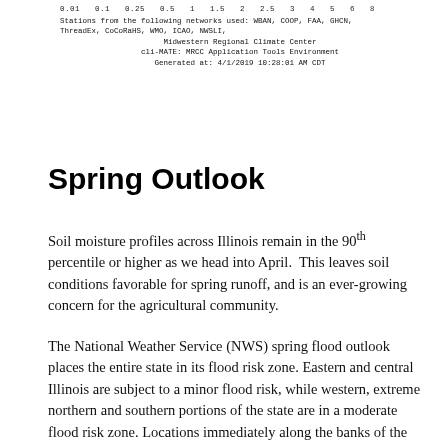0.01  0.1  0.25  0.5  1  1.5  2  2.5  3  4  5  6  8
Stations from the following networks used: WBAN, COOP, FAA, GHCN,
ThreadEx, CoCoRaHS, WMO, ICAO, NWSLI,
Midwestern Regional Climate Center
cli-MATE: MRCC Application Tools Environment
Generated at: 4/1/2019 10:28:01 AM CDT
Spring Outlook
Soil moisture profiles across Illinois remain in the 90th percentile or higher as we head into April.  This leaves soil conditions favorable for spring runoff, and is an ever-growing concern for the agricultural community.
The National Weather Service (NWS) spring flood outlook places the entire state in its flood risk zone. Eastern and central Illinois are subject to a minor flood risk, while western, extreme northern and southern portions of the state are in a moderate flood risk zone. Locations immediately along the banks of the Mississippi river are in a major flood risk zone.